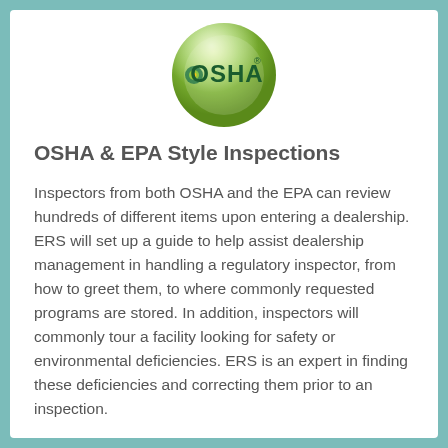[Figure (logo): OSHA logo — green glossy circular badge with 'OSHA' text in dark green/teal lettering and a small circular emblem on the left side of the text]
OSHA & EPA Style Inspections
Inspectors from both OSHA and the EPA can review hundreds of different items upon entering a dealership. ERS will set up a guide to help assist dealership management in handling a regulatory inspector, from how to greet them, to where commonly requested programs are stored. In addition, inspectors will commonly tour a facility looking for safety or environmental deficiencies. ERS is an expert in finding these deficiencies and correcting them prior to an inspection.